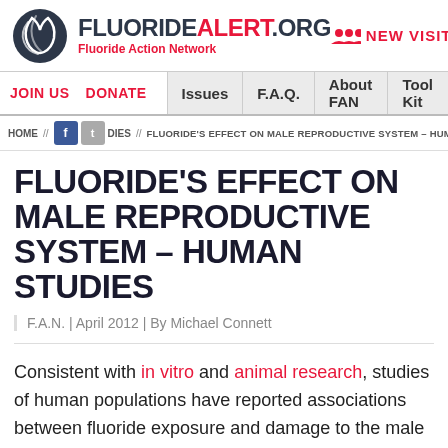[Figure (logo): FluorideAlert.org Fluoride Action Network logo with swirl icon]
FLUORIDEALERT.ORG Fluoride Action Network — NEW VISITOR
JOIN US  DONATE  Issues  F.A.Q.  About FAN  Tool Kit
HOME // STUDIES // FLUORIDE'S EFFECT ON MALE REPRODUCTIVE SYSTEM – HUMAN STUDIES
FLUORIDE'S EFFECT ON MALE REPRODUCTIVE SYSTEM – HUMAN STUDIES
F.A.N. | April 2012 | By Michael Connett
Consistent with in vitro and animal research, studies of human populations have reported associations between fluoride exposure and damage to the male reproductive system. Most notably, a scientist at the